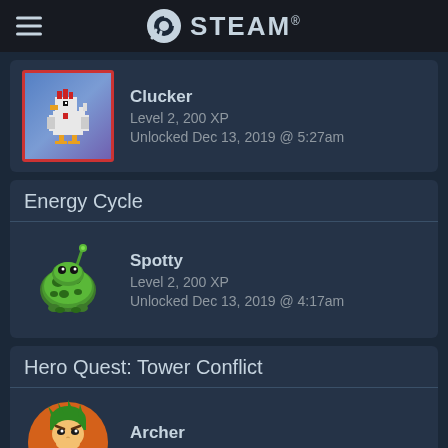STEAM
[Figure (illustration): Pixel art chicken/rooster badge on blue-purple gradient background with red border - Clucker achievement]
Clucker
Level 2, 200 XP
Unlocked Dec 13, 2019 @ 5:27am
Energy Cycle
[Figure (illustration): 3D rendered green spotted creature/pig-like character - Spotty achievement]
Spotty
Level 2, 200 XP
Unlocked Dec 13, 2019 @ 4:17am
Hero Quest: Tower Conflict
[Figure (illustration): Cartoon archer character with green hair in orange circle - Archer achievement]
Archer
Level 2, 200 XP